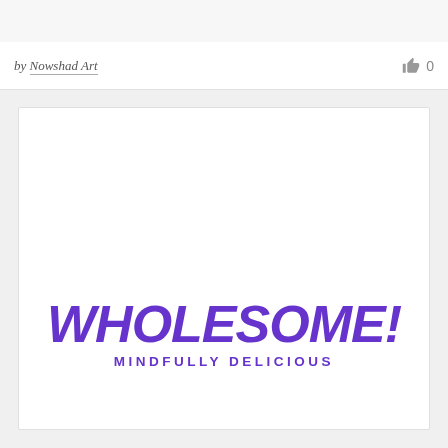by Nowshad Art
0
[Figure (logo): WHOLESOME! MINDFULLY DELICIOUS logo in bold purple italic font]